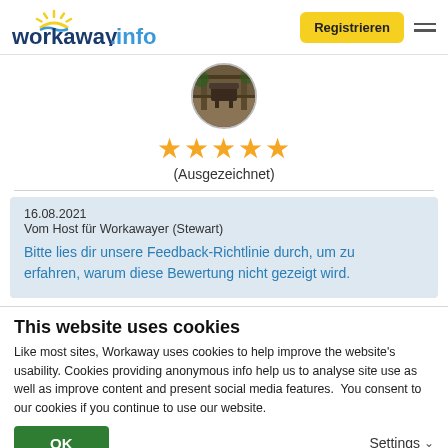workaway.info — Registrieren
[Figure (photo): Circular profile photo of a host/workawayer]
★★★★★ (Ausgezeichnet)
16.08.2021
Vom Host für Workawayer (Stewart)
Bitte lies dir unsere Feedback-Richtlinie durch, um zu erfahren, warum diese Bewertung nicht gezeigt wird.
This website uses cookies
Like most sites, Workaway uses cookies to help improve the website's usability. Cookies providing anonymous info help us to analyse site use as well as improve content and present social media features.  You consent to our cookies if you continue to use our website.
OK   Settings